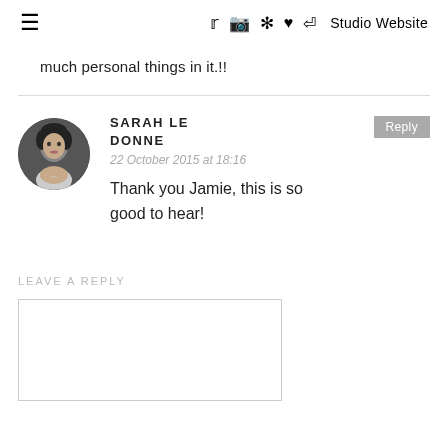≡  🐦 📷 Pinterest ♥ RSS  Studio Website
much personal things in it.!!
SARAH LE DONNE
22 October 2015 at 18:16
Thank you Jamie, this is so good to hear!
LEAVE A REPLY